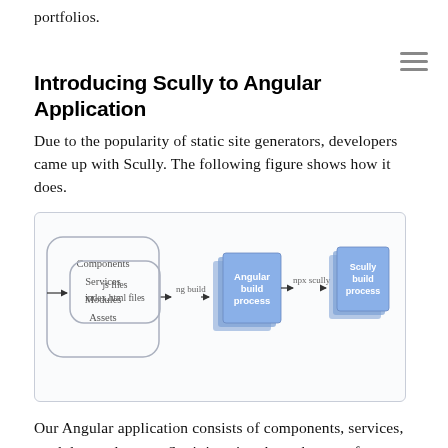portfolios.
Introducing Scully to Angular Application
Due to the popularity of static site generators, developers came up with Scully. The following figure shows how it does.
[Figure (flowchart): Flowchart showing Angular build process: Components, Services, Modules, Assets box → ng build → Angular build process (stacked blue pages) → npx scully → Scully build process (stacked blue pages) → js files, index.html files box]
Our Angular application consists of components, services, modules, and assets. So, it is going through a set of commands separately for angular build and Scully